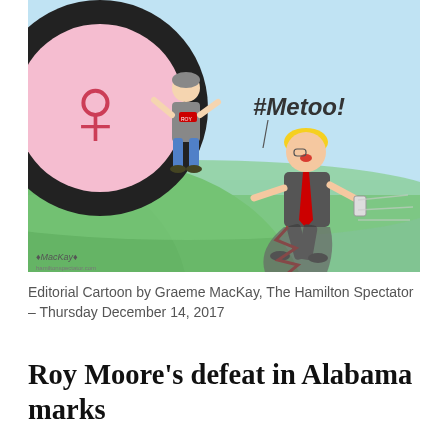[Figure (illustration): Editorial cartoon by Graeme MacKay showing a large #MeToo boulder (black ring with pink circle and female symbol) rolling downhill, crushing a figure, while a Trump-like caricature runs away holding a phone. The text '#Metoo!' appears in the upper right. Artist signature 'MacKay' is in the lower left.]
Editorial Cartoon by Graeme MacKay, The Hamilton Spectator – Thursday December 14, 2017
Roy Moore's defeat in Alabama marks